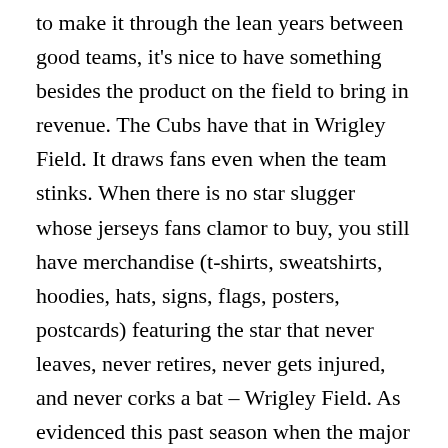to make it through the lean years between good teams, it's nice to have something besides the product on the field to bring in revenue. The Cubs have that in Wrigley Field. It draws fans even when the team stinks. When there is no star slugger whose jerseys fans clamor to buy, you still have merchandise (t-shirts, sweatshirts, hoodies, hats, signs, flags, posters, postcards) featuring the star that never leaves, never retires, never gets injured, and never corks a bat – Wrigley Field. As evidenced this past season when the major attention and marketing was given to her 100th Anniversary as there was very little to market on the field. She not only bridges past to present, but present to future by alone bringing in revenue while the team